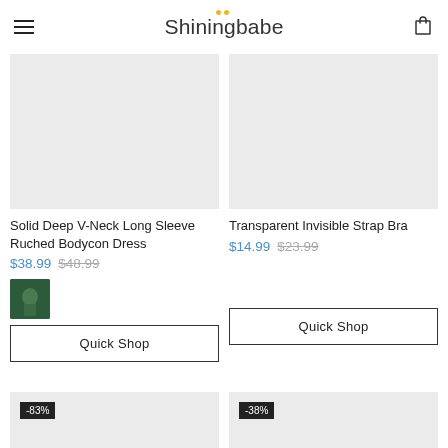Shiningbabe
[Figure (photo): Product image placeholder for Solid Deep V-Neck Long Sleeve Ruched Bodycon Dress - light gray rectangle]
Solid Deep V-Neck Long Sleeve Ruched Bodycon Dress
$38.99  $48.99
[Figure (photo): Product swatch thumbnail showing dark green bodycon dress]
Quick Shop
[Figure (photo): Product image placeholder for Transparent Invisible Strap Bra - light gray rectangle]
Transparent Invisible Strap Bra
$14.99  $23.99
Quick Shop
[Figure (photo): Bottom left product image placeholder with -83% discount badge]
[Figure (photo): Bottom right product image placeholder with -38% discount badge]